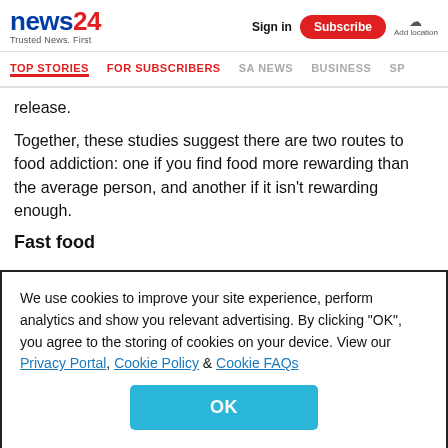news24 - Trusted News. First | Sign in | Subscribe | Add location
TOP STORIES | FOR SUBSCRIBERS | SA NEWS | BUSINESS | SP
release.
Together, these studies suggest there are two routes to food addiction: one if you find food more rewarding than the average person, and another if it isn't rewarding enough.
Fast food
We use cookies to improve your site experience, perform analytics and show you relevant advertising. By clicking "OK", you agree to the storing of cookies on your device. View our Privacy Portal, Cookie Policy & Cookie FAQs
OK